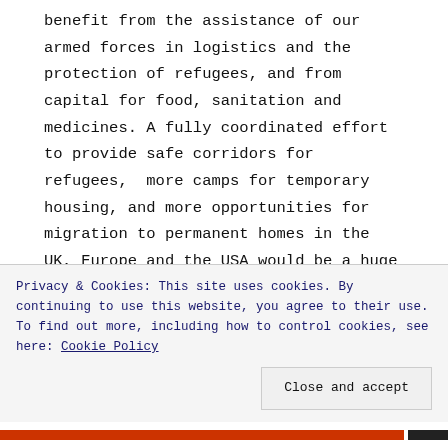benefit from the assistance of our armed forces in logistics and the protection of refugees, and from capital for food, sanitation and medicines. A fully coordinated effort to provide safe corridors for refugees,  more camps for temporary housing, and more opportunities for migration to permanent homes in the UK, Europe and the USA would be a huge demostration of the best values of citizens and in particular of Christian values.
Privacy & Cookies: This site uses cookies. By continuing to use this website, you agree to their use. To find out more, including how to control cookies, see here: Cookie Policy